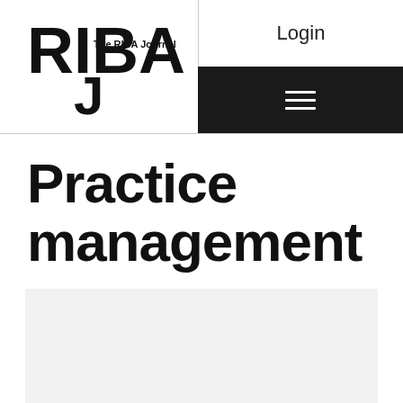[Figure (logo): RIBA J - The RIBA Journal logo in black]
Login
Practice management
[Figure (other): Grey content card placeholder area]